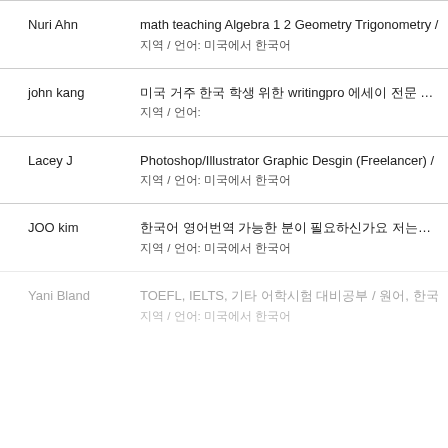Nuri Ahn | math teaching Algebra 1 2 Geometry Trigonometry | 지역 / 언어: 미국에서 한국어
john kang | 미국 거주 한국 학생 위한 writingpro 에세이 전문 강사입니다. 에세이, 영작, 미국 대학 입시지원서 도와드립니다. 지역 / 언어:
Lacey J | Photoshop/Illustrator Graphic Desgin (Freelancer) / | 지역 / 언어: 미국에서 한국어
JOO kim | 한국어 영어번역 가능한 분이 필요하신가요 저는한국어 영어를 모두 능통하며 미국 현지 거주중 이십니다 저한태 연락해주세요 | 지역 / 언어: 미국에서 한국어
Yani Bland | TOEFL, IELTS, 기타 어학시험 대비공부 / 원어, 한국 | 지역 / 언어: 미국에서 한국어